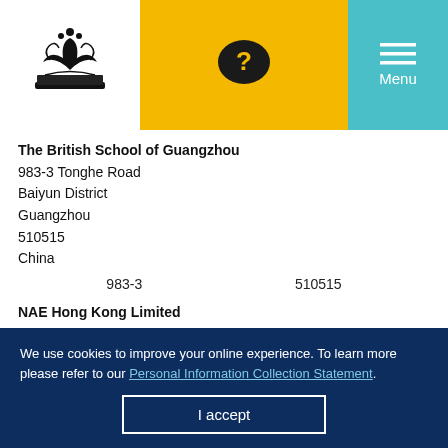[Figure (logo): British School of Guangzhou logo — decorative emblem with book and crown motif]
[Figure (other): Yellow question mark speech bubble icon in orange/yellow navigation bar]
[Figure (other): Teal menu button with hamburger icon and 'Menu' text]
The British School of Guangzhou
983-3 Tonghe Road
Baiyun District
Guangzhou
510515
China
983-3	510515
NAE Hong Kong Limited
18/F Edinburgh Tower The Landmark
We use cookies to improve your online experience. To learn more please refer to our Personal Information Collection Statement.
I accept